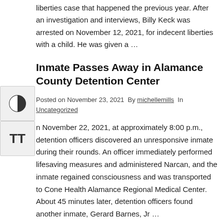liberties case that happened the previous year. After an investigation and interviews, Billy Keck was arrested on November 12, 2021, for indecent liberties with a child. He was given a …
Inmate Passes Away in Alamance County Detention Center
Posted on November 23, 2021  By michellemills  In Uncategorized
On November 22, 2021, at approximately 8:00 p.m., detention officers discovered an unresponsive inmate during their rounds. An officer immediately performed lifesaving measures and administered Narcan, and the inmate regained consciousness and was transported to Cone Health Alamance Regional Medical Center. About 45 minutes later, detention officers found another inmate, Gerard Barnes, Jr …